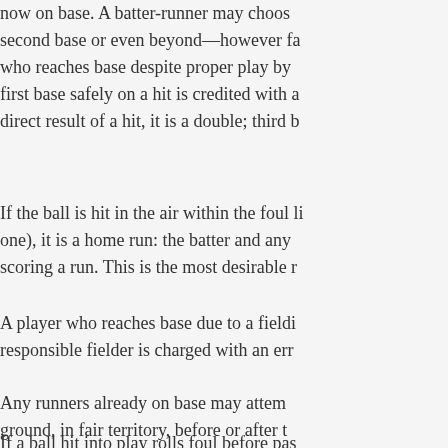now on base. A batter-runner may choose to try for second base or even beyond—however fa... who reaches base despite proper play by... first base safely on a hit is credited with a... direct result of a hit, it is a double; third b...
If the ball is hit in the air within the foul li... one), it is a home run: the batter and any... scoring a run. This is the most desirable r...
A player who reaches base due to a fieldi... responsible fielder is charged with an err...
Any runners already on base may attem... ground, in fair territory, before or after t... advance if a ball lands in play.
If a ball hit into play rolls foul before pas...